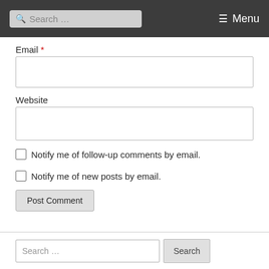Search ... Menu
Email *
Website
Notify me of follow-up comments by email.
Notify me of new posts by email.
Post Comment
Search ...